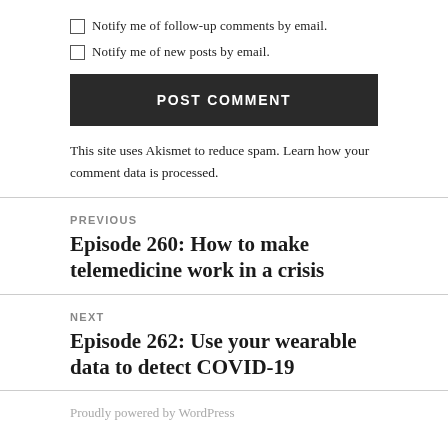Notify me of follow-up comments by email.
Notify me of new posts by email.
POST COMMENT
This site uses Akismet to reduce spam. Learn how your comment data is processed.
PREVIOUS
Episode 260: How to make telemedicine work in a crisis
NEXT
Episode 262: Use your wearable data to detect COVID-19
Proudly powered by WordPress